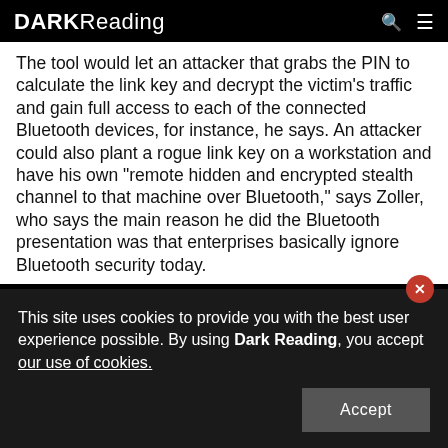DARK Reading
The tool would let an attacker that grabs the PIN to calculate the link key and decrypt the victim's traffic and gain full access to each of the connected Bluetooth devices, for instance, he says. An attacker could also plant a rogue link key on a workstation and have his own "remote hidden and encrypted stealth channel to that machine over Bluetooth," says Zoller, who says the main reason he did the Bluetooth presentation was that enterprises basically ignore Bluetooth security today.
Kelly Jackson Higgins, Senior Editor, Dark Reading
This site uses cookies to provide you with the best user experience possible. By using Dark Reading, you accept our use of cookies.